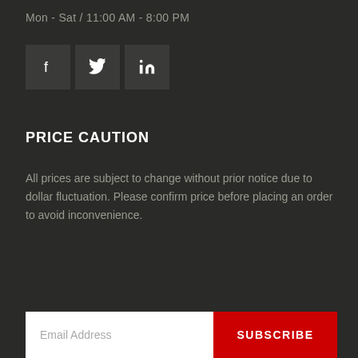Mon - Sat / 11:00 AM - 8:00 PM
[Figure (infographic): Three social media icons: Facebook (f), Twitter (bird), LinkedIn (in) on dark square backgrounds]
PRICE CAUTION
All prices are subject to change without prior notice due to dollar fluctuation. Please confirm price before placing an order to avoid inconvenience.
Email Address  SUBSCRIBE
INFORMATION
About us